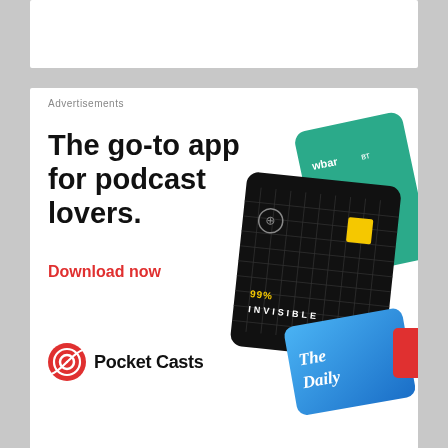Advertisements
[Figure (illustration): Pocket Casts app advertisement showing podcast app cards (99% Invisible, wbar, The Daily) with headline 'The go-to app for podcast lovers.' and red 'Download now' CTA, with Pocket Casts logo]
Search...